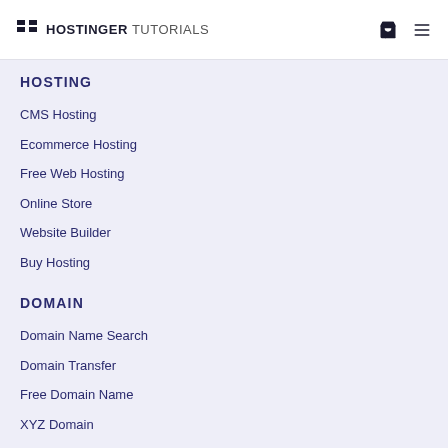HOSTINGER TUTORIALS
HOSTING
CMS Hosting
Ecommerce Hosting
Free Web Hosting
Online Store
Website Builder
Buy Hosting
DOMAIN
Domain Name Search
Domain Transfer
Free Domain Name
XYZ Domain